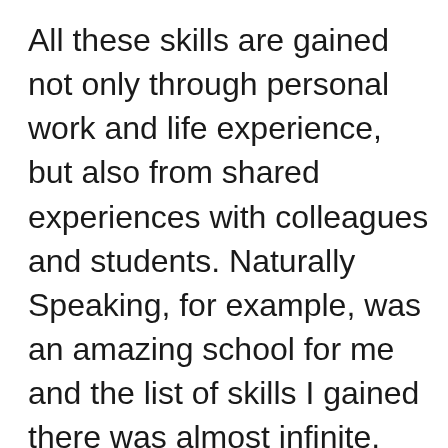All these skills are gained not only through personal work and life experience, but also from shared experiences with colleagues and students. Naturally Speaking, for example, was an amazing school for me and the list of skills I gained there was almost infinite. From teamwork, to how to engage with guest speakers and the “invisible” audience, to formulating interesting questions and learning many of the technical skills required to edit and publish blogs and podcasts. These are